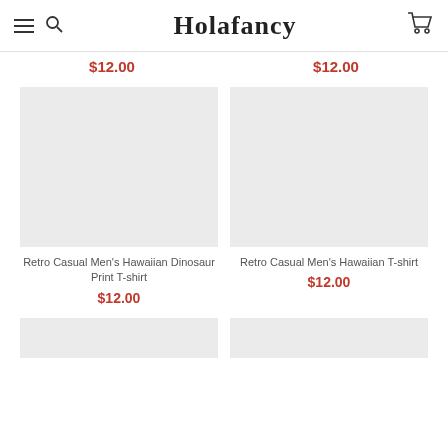Holafancy
$12.00   $12.00
[Figure (photo): Product image placeholder - light gray box for Retro Casual Men's Hawaiian Dinosaur Print T-shirt]
Retro Casual Men's Hawaiian Dinosaur Print T-shirt
$12.00
[Figure (photo): Product image placeholder - light gray box for Retro Casual Men's Hawaiian T-shirt]
Retro Casual Men's Hawaiian T-shirt
$12.00
[Figure (photo): Partial product image placeholder at bottom left]
[Figure (photo): Partial product image placeholder at bottom right]